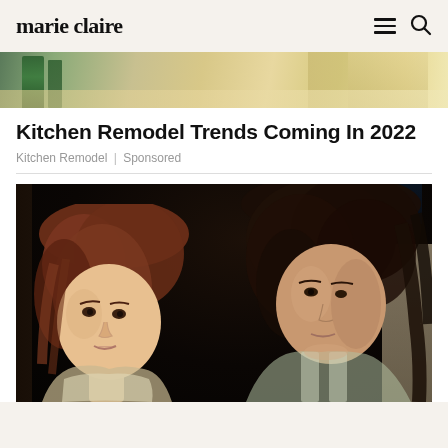marie claire
[Figure (photo): Partial view of a kitchen with green chairs and light wood cabinetry, top portion cropped]
Kitchen Remodel Trends Coming In 2022
Kitchen Remodel | Sponsored
[Figure (photo): Two young women sitting in the back seat of a car at night. The woman on the left has auburn/reddish-brown hair and looks directly at the camera. The woman on the right has dark brown hair and looks to the side.]